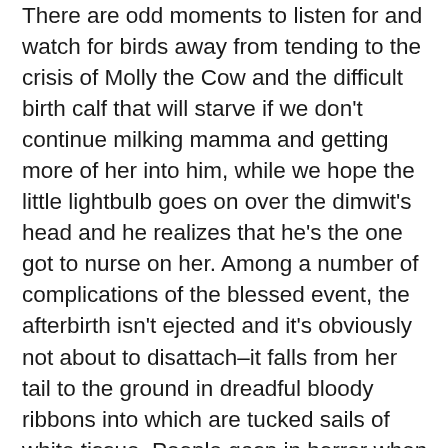There are odd moments to listen for and watch for birds away from tending to the crisis of Molly the Cow and the difficult birth calf that will starve if we don't continue milking mamma and getting more of her into him, while we hope the little lightbulb goes on over the dimwit's head and he realizes that he's the one got to nurse on her. Among a number of complications of the blessed event, the afterbirth isn't ejected and it's obviously not about to disattach–it falls from her tail to the ground in dreadful bloody ribbons into which are tucked sails of white tissue. People gasp in horror when they see Molly. I don't know when this will be over, the manuals say could be eleven days, but a number of folks are in on seeing it through, and this allows me to slip away now and then so a few more birds can be added to the Ides of Summer list. I'm sure I will miss many species,